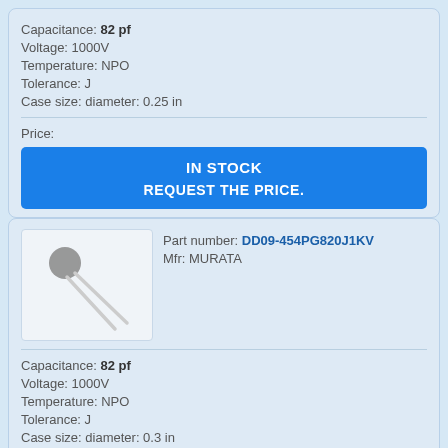Capacitance: 82 pf
Voltage: 1000V
Temperature: NPO
Tolerance: J
Case size: diameter: 0.25 in
Price:
IN STOCK
REQUEST THE PRICE.
[Figure (photo): Ceramic disc capacitor component photo on white background]
Part number: DD09-454PG820J1KV
Mfr: MURATA
Capacitance: 82 pf
Voltage: 1000V
Temperature: NPO
Tolerance: J
Case size: diameter: 0.3 in